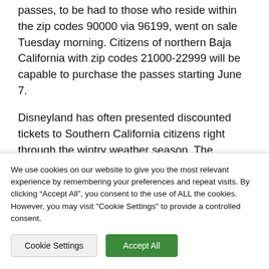passes, to be had to those who reside within the zip codes 90000 via 96199, went on sale Tuesday morning. Citizens of northern Baja California with zip codes 21000-22999 will be capable to purchase the passes starting June 7.
Disneyland has often presented discounted tickets to Southern California citizens right through the wintry weather season. The newest deal allow locals to shop for 3-day passes just right for 1 park in...
We use cookies on our website to give you the most relevant experience by remembering your preferences and repeat visits. By clicking “Accept All”, you consent to the use of ALL the cookies. However, you may visit "Cookie Settings" to provide a controlled consent.